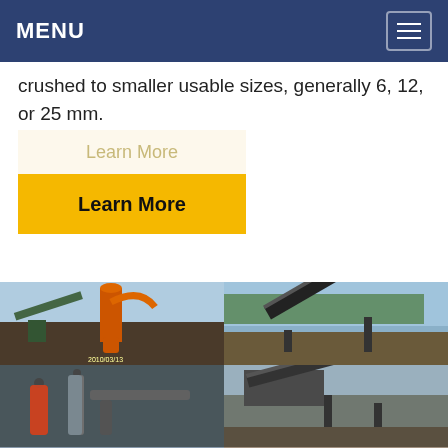MENU
crushed to smaller usable sizes, generally 6, 12, or 25 mm.
Learn More
Learn More
[Figure (photo): Industrial grinding/crushing equipment with orange cyclone separator and conveyor systems at a mining/processing facility. Four photos arranged in 2x2 grid showing various angles of the equipment and facility.]